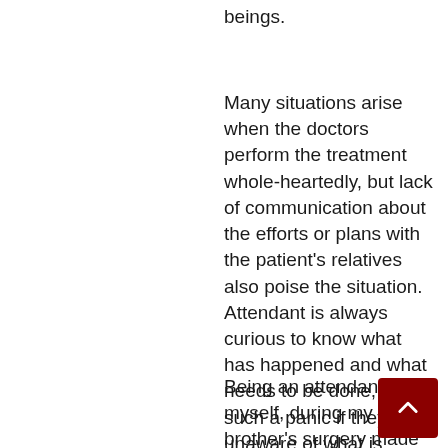beings.
Many situations arise when the doctors perform the treatment whole-heartedly, but lack of communication about the efforts or plans with the patient's relatives also poise the situation. Attendant is always curious to know what has happened and what needs to be done, and in such a panic if they are unaware of what is happening, panic keeps on piling up and bursts out at saturation.
Being an attendant myself, during my brother's surgery made e think